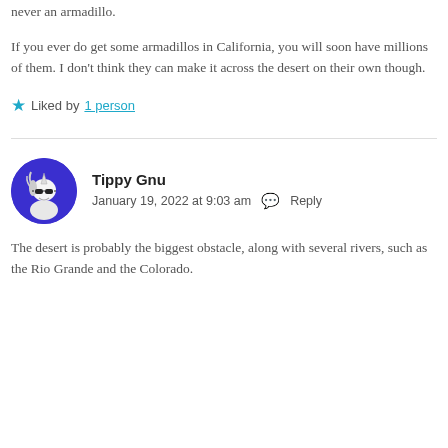never an armadillo.
If you ever do get some armadillos in California, you will soon have millions of them. I don't think they can make it across the desert on their own though.
★ Liked by 1person
[Figure (illustration): Circular avatar with blue/purple background showing a cartoon unicorn wearing sunglasses]
Tippy Gnu
January 19, 2022 at 9:03 am  Reply
The desert is probably the biggest obstacle, along with several rivers, such as the Rio Grande and the Colorado.